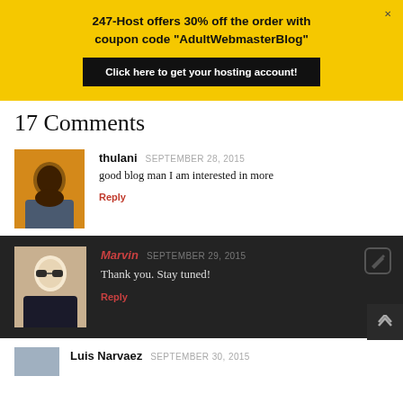[Figure (infographic): Yellow banner advertisement: '247-Host offers 30% off the order with coupon code "AdultWebmasterBlog"' with a dark button 'Click here to get your hosting account!']
17 Comments
thulani SEPTEMBER 28, 2015
good blog man I am interested in more
Reply
Marvin SEPTEMBER 29, 2015
Thank you. Stay tuned!
Reply
Luis Narvaez SEPTEMBER 30, 2015